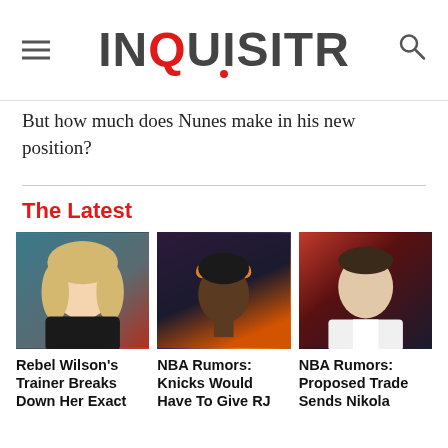INQUISITR
But how much does Nunes make in his new position?
The Latest
[Figure (photo): Photo of Rebel Wilson, a blonde woman wearing a black outfit]
Rebel Wilson's Trainer Breaks Down Her Exact
[Figure (photo): Photo of an NBA player wearing an orange headband, looking upward]
NBA Rumors: Knicks Would Have To Give RJ
[Figure (photo): Photo of NBA player Nikola in a white basketball jersey]
NBA Rumors: Proposed Trade Sends Nikola